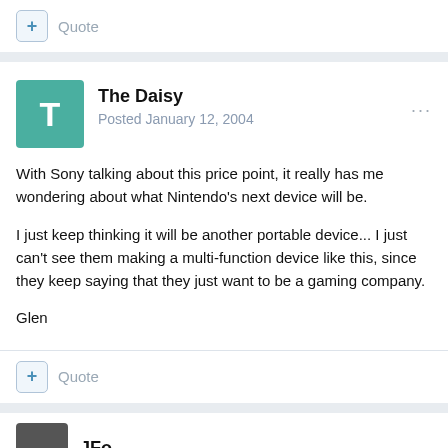Quote
The Daisy
Posted January 12, 2004
With Sony talking about this price point, it really has me wondering about what Nintendo's next device will be.
I just keep thinking it will be another portable device... I just can't see them making a multi-function device like this, since they keep saying that they just want to be a gaming company.
Glen
Quote